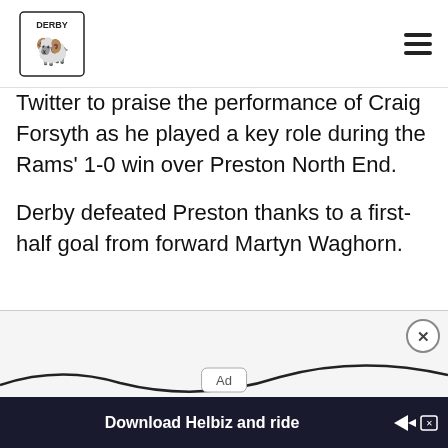Derby Wire logo and navigation
Twitter to praise the performance of Craig Forsyth as he played a key role during the Rams' 1-0 win over Preston North End.
Derby defeated Preston thanks to a first-half goal from forward Martyn Waghorn.
[Figure (other): Advertisement area with 'Ad' label, close button, wave decoration, and 'Download Helbiz and ride' banner ad at the bottom]